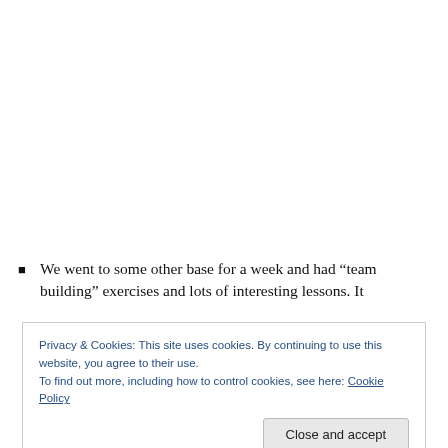We went to some other base for a week and had “team building” exercises and lots of interesting lessons. It
Privacy & Cookies: This site uses cookies. By continuing to use this website, you agree to their use.
To find out more, including how to control cookies, see here: Cookie Policy